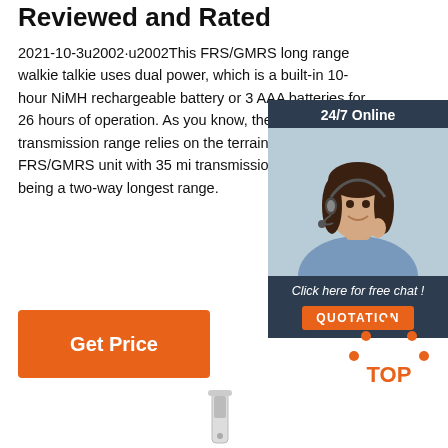Reviewed and Rated
2021-10-3u2002·u2002This FRS/GMRS long range walkie talkie uses dual power, which is a built-in 10-hour NiMH rechargeable battery or 3 AAA batteries for 26 hours of operation. As you know, the signal transmission range relies on the terrain, the Motorola FRS/GMRS unit with 35 mi transmission is close to being a two-way longest range.
[Figure (illustration): Chat support widget showing a woman with headset, '24/7 Online' header, 'Click here for free chat!' text, and orange QUOTATION button]
Get Price
[Figure (logo): Orange dotted TOP logo with dots arranged in arc above the word TOP]